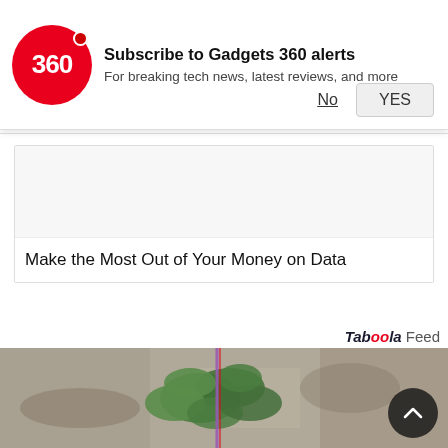[Figure (logo): Gadgets 360 red circle logo with '360' text in white]
Subscribe to Gadgets 360 alerts
For breaking tech news, latest reviews, and more
No
YES
Make the Most Out of Your Money on Data
Taboola Feed
[Figure (photo): Photo of green plant/leaves growing through concrete pavement with a purple/red vertical line]